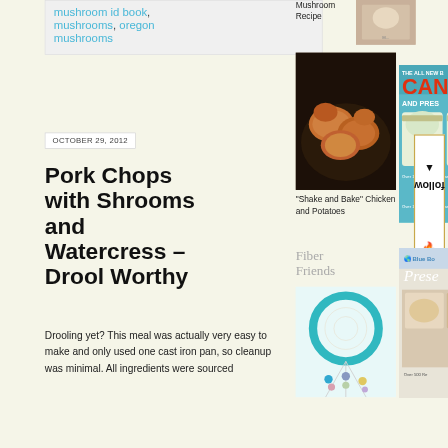mushroom id book, mushrooms, oregon mushrooms
[Figure (photo): Small food photo thumbnail top right]
[Figure (photo): Shake and Bake Chicken and Potatoes - fried chicken pieces in cast iron pan]
"Shake and Bake" Chicken and Potatoes
[Figure (photo): Canning and Preserving book advertisement]
OCTOBER 29, 2012
Pork Chops with Shrooms and Watercress – Drool Worthy
Drooling yet? This meal was actually very easy to make and only used one cast iron pan, so cleanup was minimal. All ingredients were sourced
Fiber Friends
[Figure (photo): Colorful dreamcatcher with teal hoop]
[Figure (photo): Blue Book Preserving cookbook advertisement]